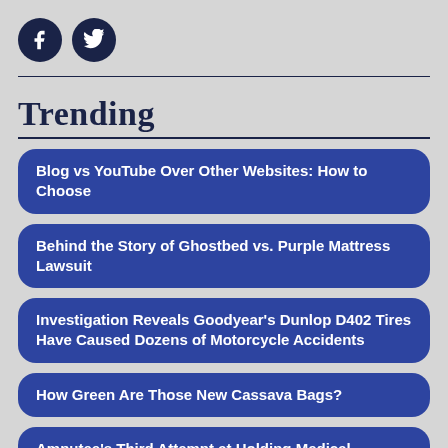[Figure (logo): Facebook and Twitter social media icon circles in dark navy blue]
Trending
Blog vs YouTube Over Other Websites: How to Choose
Behind the Story of Ghostbed vs. Purple Mattress Lawsuit
Investigation Reveals Goodyear's Dunlop D402 Tires Have Caused Dozens of Motorcycle Accidents
How Green Are Those New Cassava Bags?
Amputee's Third Attempt at Holding Medical [Doctor/Party] Responsible By Off[screen]